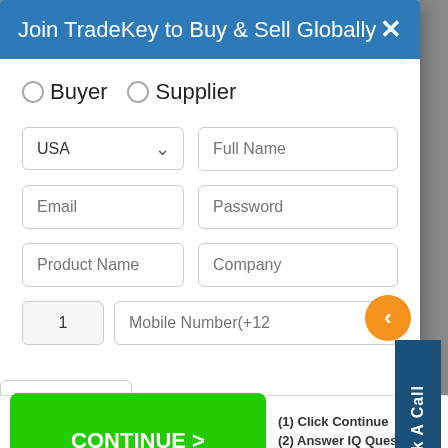Join TradeKey to Buy & Sell Globally
Buyer  Supplier
USA (dropdown), Full Name
Email, Password
Product Name, Company
1, Mobile Number(+12
Book A Call
[Figure (screenshot): Ad banner with green CONTINUE > button and text: (1) Click Continue, (2) Answer IQ Questions, (3) Get Your IQ Result]